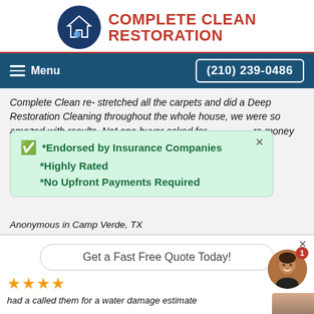[Figure (logo): Complete Clean Restoration logo with circular blue icon and red bold text]
Menu   (210) 239-0486
Complete Clean re- stretched all the carpets and did a Deep Restoration Cleaning throughout the whole house, we were so amazed with results. Not one buyer asked for money...it!" Mr. & ...g"
*Endorsed by Insurance Companies
*Highly Rated
*No Upfront Payments Required
Anonymous in Camp Verde, TX
Get a Fast Free Quote Today!
had a called them for a water damage estimate
[Figure (photo): Man smiling, avatar photo in chat widget]